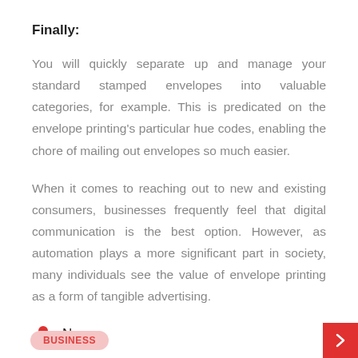Finally:
You will quickly separate up and manage your standard stamped envelopes into valuable categories, for example. This is predicated on the envelope printing's particular hue codes, enabling the chore of mailing out envelopes so much easier.
When it comes to reaching out to new and existing consumers, businesses frequently feel that digital communication is the best option. However, as automation plays a more significant part in society, many individuals see the value of envelope printing as a form of tangible advertising.
Nova
BUSINESS